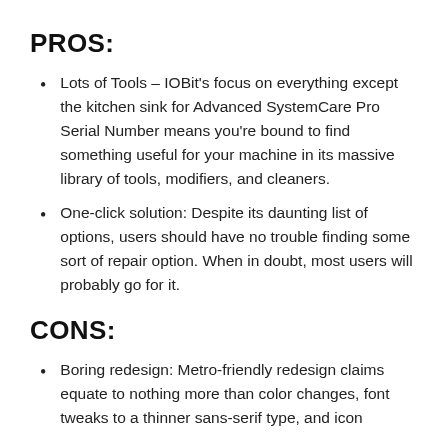PROS:
Lots of Tools – IOBit's focus on everything except the kitchen sink for Advanced SystemCare Pro Serial Number means you're bound to find something useful for your machine in its massive library of tools, modifiers, and cleaners.
One-click solution: Despite its daunting list of options, users should have no trouble finding some sort of repair option. When in doubt, most users will probably go for it.
CONS:
Boring redesign: Metro-friendly redesign claims equate to nothing more than color changes, font tweaks to a thinner sans-serif type, and icon changes. More to change, but not to improve.